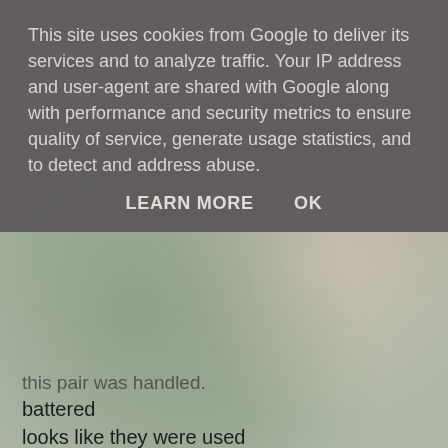This site uses cookies from Google to deliver its services and to analyze traffic. Your IP address and user-agent are shared with Google along with performance and security metrics to ensure quality of service, generate usage statistics, and to detect and address abuse.
LEARN MORE    OK
this pair was handled.
battered
looks like they were used
for cutting barbed wire
by desperate dressmakers
knee deep in the Somme
"Get that wire clear, Soldier!"
screamed the chief seamstress
and they worked the little yellow handles
until their fingers were ragged
until the ache ran all the way
right up their arms.